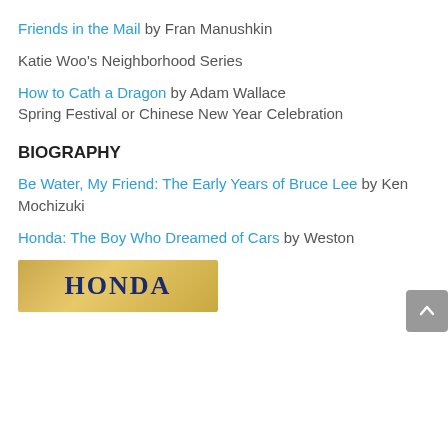Friends in the Mail by Fran Manushkin
Katie Woo's Neighborhood Series
How to Cath a Dragon by Adam Wallace
Spring Festival or Chinese New Year Celebration
BIOGRAPHY
Be Water, My Friend: The Early Years of Bruce Lee by Ken Mochizuki
Honda: The Boy Who Dreamed of Cars by Weston
[Figure (other): Book cover image showing the word HONDA in bold navy blue letters on a golden/yellow background]